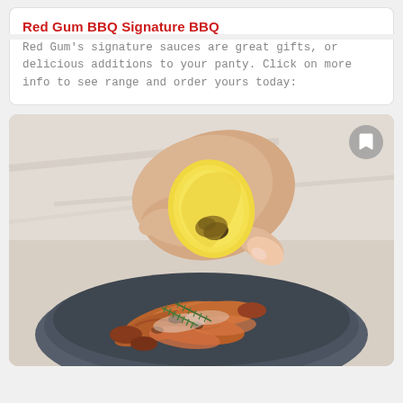Red Gum BBQ Signature BBQ
Red Gum's signature sauces are great gifts, or delicious additions to your panty. Click on more info to see range and order yours today:
[Figure (photo): A hand squeezing a charred lemon half over a dark plate of grilled prawns/shrimp garnished with rosemary. A bookmark icon button is visible in the top-right corner of the image.]